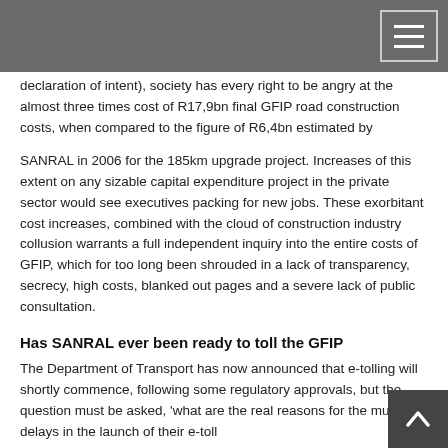declaration of intent), society has every right to be angry at the almost three times cost of R17,9bn final GFIP road construction costs, when compared to the figure of R6,4bn estimated by
SANRAL in 2006 for the 185km upgrade project. Increases of this extent on any sizable capital expenditure project in the private sector would see executives packing for new jobs. These exorbitant cost increases, combined with the cloud of construction industry collusion warrants a full independent inquiry into the entire costs of GFIP, which for too long been shrouded in a lack of transparency, secrecy, high costs, blanked out pages and a severe lack of public consultation.
Has SANRAL ever been ready to toll the GFIP
The Department of Transport has now announced that e-tolling will shortly commence, following some regulatory approvals, but the question must be asked, 'what are the real reasons for the multiple delays in the launch of their e-toll